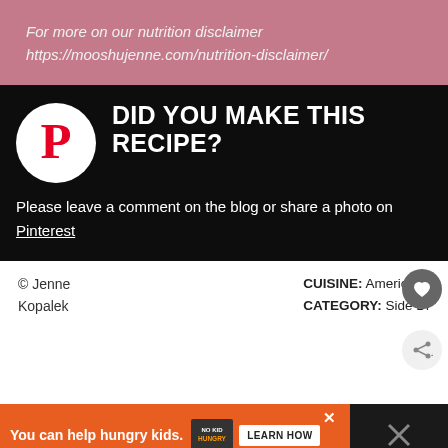For more on our nutrition disclaimer https://mooshujenne.com/nutrition-disclaimer/
DID YOU MAKE THIS RECIPE? Please leave a comment on the blog or share a photo on Pinterest
© Jenne Kopalek
CUISINE: American / CATEGORY: Side Di...
[Figure (infographic): No Kid Hungry advertisement banner with orange background, 'You can help hungry kids.' text, No Kid Hungry logo, and LEARN HOW button]